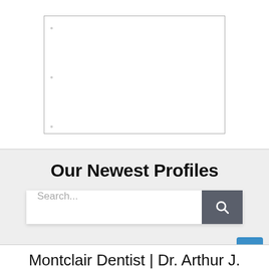[Figure (other): A blank white document/page placeholder with a border, shown in the top white section of the page.]
Our Newest Profiles
[Figure (screenshot): A search bar with placeholder text 'Search...' and a dark grey search button with a magnifying glass icon.]
Montclair Dentist | Dr. Arthur J.